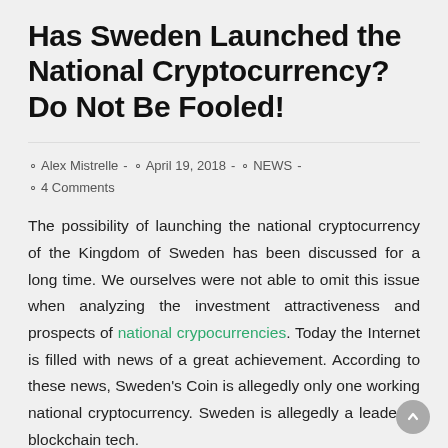Has Sweden Launched the National Cryptocurrency? Do Not Be Fooled!
Alex Mistrelle  -  April 19, 2018  -  NEWS  -  4 Comments
The possibility of launching the national cryptocurrency of the Kingdom of Sweden has been discussed for a long time. We ourselves were not able to omit this issue when analyzing the investment attractiveness and prospects of national crypocurrencies. Today the Internet is filled with news of a great achievement. According to these news, Sweden's Coin is allegedly only one working national cryptocurrency. Sweden is allegedly a leader in blockchain tech.
But we should say it is not worth doing hype. So for the launch of